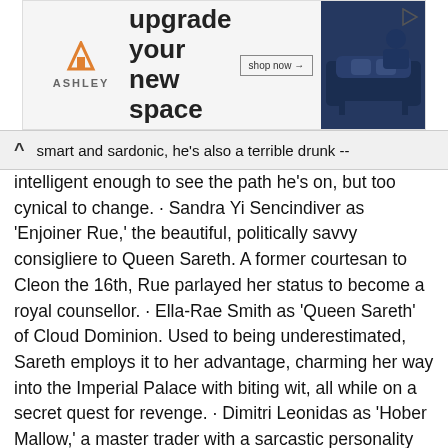[Figure (other): Ashley Furniture advertisement banner with logo, 'upgrade your new space' headline, 'shop now' button, and image of a blue sofa]
smart and sardonic, he's also a terrible drunk -- intelligent enough to see the path he's on, but too cynical to change. · Sandra Yi Sencindiver as 'Enjoiner Rue,' the beautiful, politically savvy consigliere to Queen Sareth. A former courtesan to Cleon the 16th, Rue parlayed her status to become a royal counsellor. · Ella-Rae Smith as 'Queen Sareth' of Cloud Dominion. Used to being underestimated, Sareth employs it to her advantage, charming her way into the Imperial Palace with biting wit, all while on a secret quest for revenge. · Dimitri Leonidas as 'Hober Mallow,' a master trader with a sarcastic personality and questionable morals, who is summoned against his will to serve a higher, selfless cause. Apple TV+ released the trailer for "Foundation," the highly